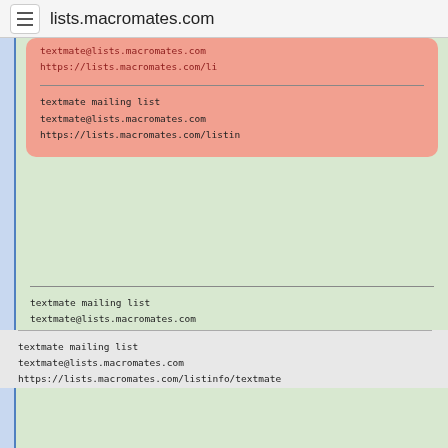lists.macromates.com
textmate@lists.macromates.com
https://lists.macromates.com/li
textmate mailing list
textmate@lists.macromates.com
https://lists.macromates.com/listin
textmate mailing list
textmate@lists.macromates.com
https://lists.macromates.com/listinfo/tex
textmate mailing list
textmate@lists.macromates.com
https://lists.macromates.com/listinfo/textmate